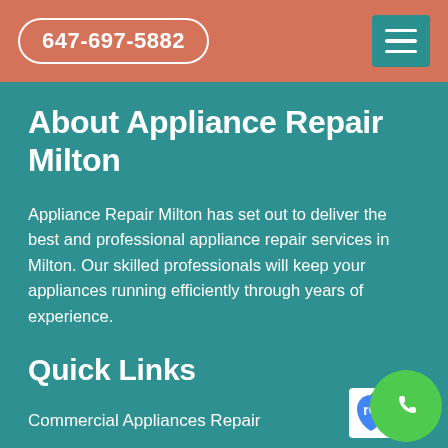647-697-5882
About Appliance Repair Milton
Appliance Repair Milton has set out to deliver the best and professional appliance repair services in Milton. Our skilled professionals will keep your appliances running efficiently through years of experience.
Quick Links
Commercial Appliances Repair
Gas Stove Repair
Kitchen Appliances Repair